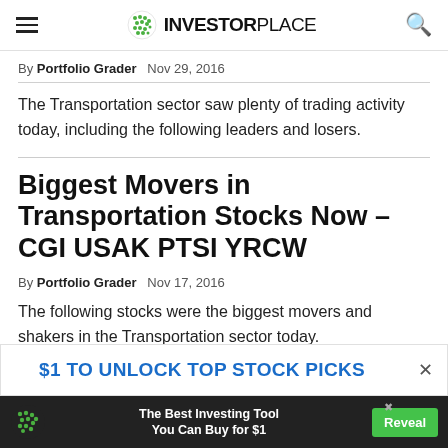InvestorPlace
By Portfolio Grader  Nov 29, 2016
The Transportation sector saw plenty of trading activity today, including the following leaders and losers.
Biggest Movers in Transportation Stocks Now – CGI USAK PTSI YRCW
By Portfolio Grader  Nov 17, 2016
The following stocks were the biggest movers and shakers in the Transportation sector today.
$1 TO UNLOCK TOP STOCK PICKS
The Best Investing Tool You Can Buy for $1